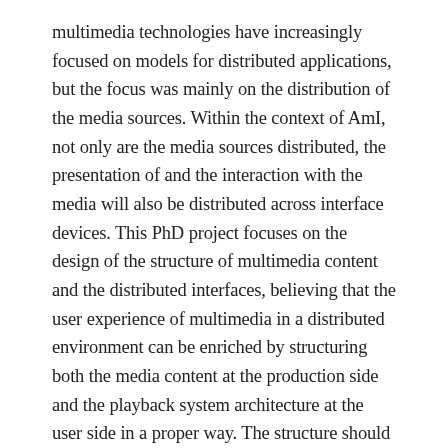multimedia technologies have increasingly focused on models for distributed applications, but the focus was mainly on the distribution of the media sources. Within the context of AmI, not only are the media sources distributed, the presentation of and the interaction with the media will also be distributed across interface devices. This PhD project focuses on the design of the structure of multimedia content and the distributed interfaces, believing that the user experience of multimedia in a distributed environment can be enriched by structuring both the media content at the production side and the playback system architecture at the user side in a proper way. The structure should enable both the media presentation and the user interaction to be distributed and synchronized over the networked devices in the environment. The presentation and interaction should be adaptive to the profiles and preferences of the users, and the dynamic configurations of the environment.